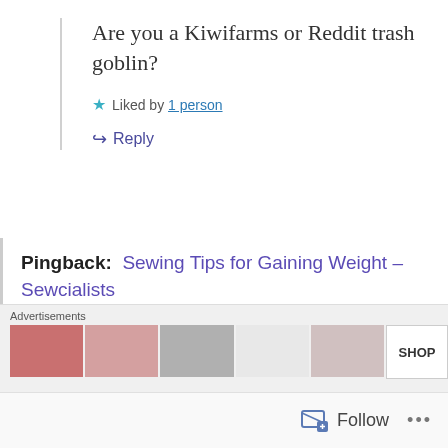Are you a Kiwifarms or Reddit trash goblin?
★ Liked by 1 person
↪ Reply
Pingback:  Sewing Tips for Gaining Weight – Sewcialists
Pingback:  Style Arc Dotty Blouse, Gillian Anderson style – Chronically Siobhan
Advertisements
Follow  •••